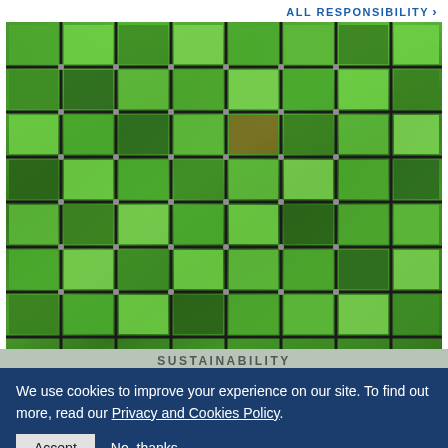ALL RESPONSIBILITY >
[Figure (photo): A vertical green living wall with multiple rows and columns of various green plants and vegetation arranged in grid-like modular panels with dark structural framing.]
SUSTAINABILITY
We use cookies to improve your experience on our site. To find out more, read our Privacy and Cookies Policy.
Accept
No, thanks